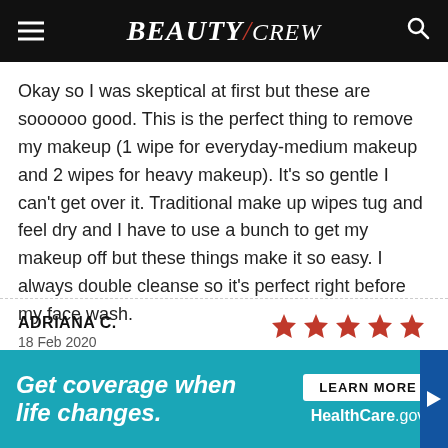BEAUTY/crew
Okay so I was skeptical at first but these are soooooo good. This is the perfect thing to remove my makeup (1 wipe for everyday-medium makeup and 2 wipes for heavy makeup). It's so gentle I can't get over it. Traditional make up wipes tug and feel dry and I have to use a bunch to get my makeup off but these things make it so easy. I always double cleanse so it's perfect right before my face wash.
ADRIANA C.
18 Feb 2020
[Figure (other): Five red star rating icons]
[Figure (other): Advertisement banner: Get coverage when life changes. LEARN MORE HealthCare.gov]